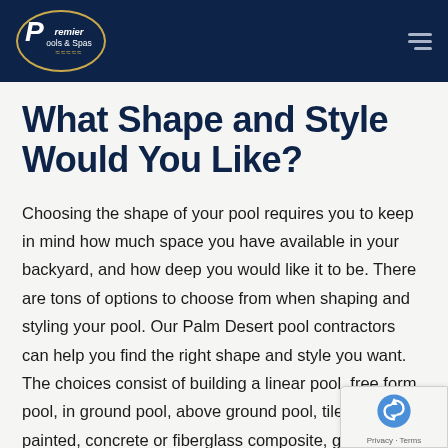Premier Pools & Spas
What Shape and Style Would You Like?
Choosing the shape of your pool requires you to keep in mind how much space you have available in your backyard, and how deep you would like it to be. There are tons of options to choose from when shaping and styling your pool. Our Palm Desert pool contractors can help you find the right shape and style you want. The choices consist of building a linear pool, free form pool, in ground pool, above ground pool, tiled or painted, concrete or fiberglass composite, gunite, and many many more. After you have chosen your shape and style, our Palm Desert pool contractors will then offer you a